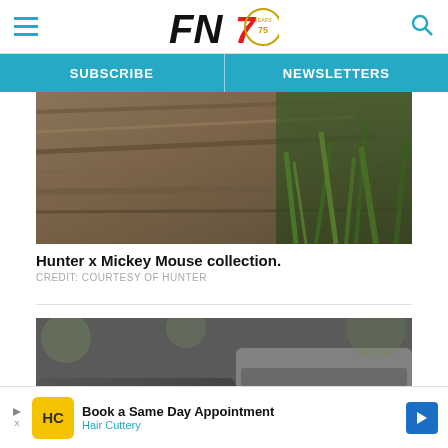FN7 — SUBSCRIBE | NEWSLETTERS
[Figure (photo): Close-up of weathered wood and green grass — Hunter x Mickey Mouse collection background photo]
Hunter x Mickey Mouse collection.
CREDIT: COURTESY OF HUNTER
[Figure (photo): Close-up of dark rubber/leather outerwear cuff with buttons, worn over tan fabric — Hunter boots/outerwear detail]
[Figure (other): Advertisement: Book a Same Day Appointment — Hair Cuttery]